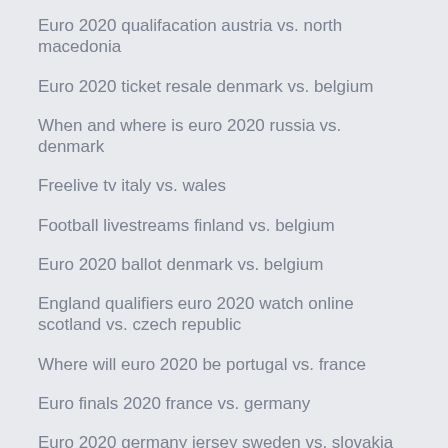Euro 2020 qualifacation austria vs. north macedonia
Euro 2020 ticket resale denmark vs. belgium
When and where is euro 2020 russia vs. denmark
Freelive tv italy vs. wales
Football livestreams finland vs. belgium
Euro 2020 ballot denmark vs. belgium
England qualifiers euro 2020 watch online scotland vs. czech republic
Where will euro 2020 be portugal vs. france
Euro finals 2020 france vs. germany
Euro 2020 germany jersey sweden vs. slovakia
Euro 2020 qualificvation sweden vs. poland
Euro 2020 qualifiers highlights poland vs. slovakia